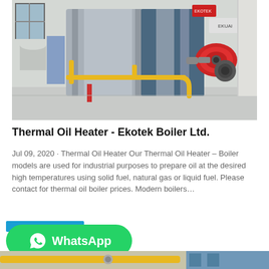[Figure (photo): Industrial thermal oil heater / boiler installed in a facility. Large blue and silver metal boiler unit with yellow gas pipes and a red burner attached to the front right. Equipment sits on a concrete floor in an industrial building.]
Thermal Oil Heater - Ekotek Boiler Ltd.
Jul 09, 2020 · Thermal Oil Heater Our Thermal Oil Heater – Boiler models are used for industrial purposes to prepare oil at the desired high temperatures using solid fuel, natural gas or liquid fuel. Please contact for thermal oil boiler prices. Modern boilers…
[Figure (photo): Partial view of industrial piping and equipment, yellow pipes visible at the bottom of the page.]